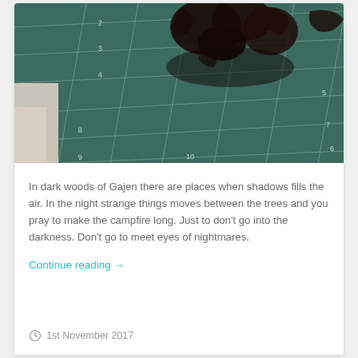[Figure (photo): Photo of dark miniature figurines placed on a green cutting mat with ruler grid lines visible. The mat shows measurements including numbers 2-10 along the edges. The figurines appear to be dark/black fantasy creatures.]
In dark woods of Gajen there are places when shadows fills the air. In the night strange things moves between the trees and you pray to make the campfire long. Just to don't go into the darkness. Don't go to meet eyes of nightmares.
Continue reading →
1st November 2017